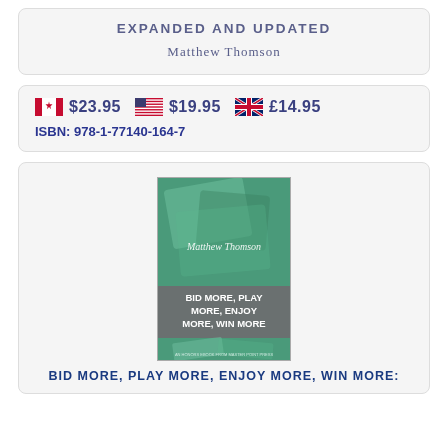EXPANDED AND UPDATED
Matthew Thomson
$23.95   $19.95   £14.95
ISBN: 978-1-77140-164-7
[Figure (photo): Book cover of 'Bid More, Play More, Enjoy More, Win More' by Matthew Thomson, with green background showing playing cards and card game imagery, and gray banner with book title.]
BID MORE, PLAY MORE, ENJOY MORE, WIN MORE: